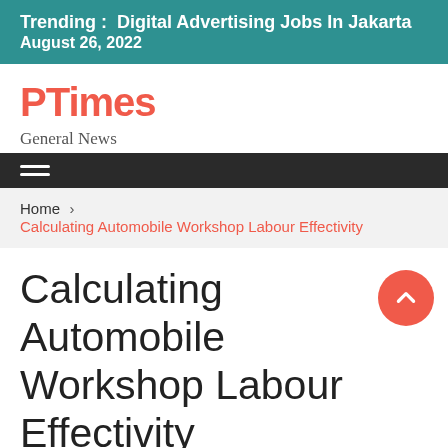Trending :  Digital Advertising Jobs In Jakarta
August 26, 2022
PTimes
General News
≡ (hamburger menu)
Home › Calculating Automobile Workshop Labour Effectivity
Calculating Automobile Workshop Labour Effectivity